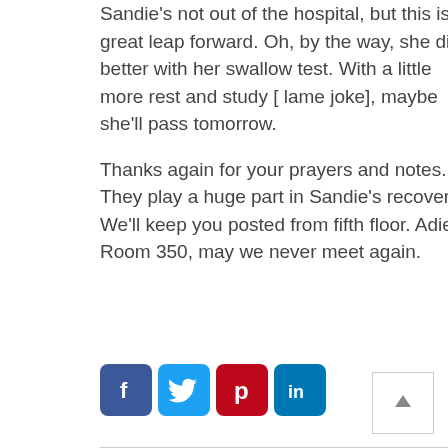Sandie's not out of the hospital, but this is a great leap forward. Oh, by the way, she did better with her swallow test. With a little more rest and study [ lame joke], maybe she'll pass tomorrow.

Thanks again for your prayers and notes. They play a huge part in Sandie's recovery. We'll keep you posted from fifth floor. Adieu, Room 350, may we never meet again.
[Figure (infographic): Social media sharing icons: Facebook (blue), Twitter (light blue), Pinterest (red), LinkedIn (dark blue)]